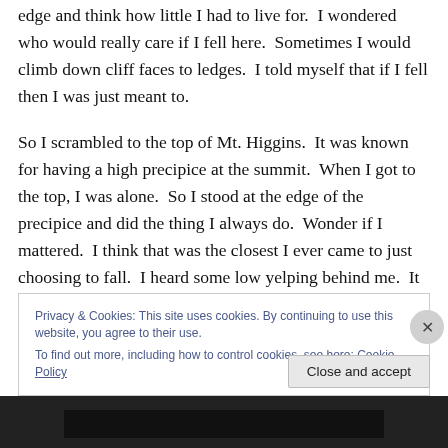edge and think how little I had to live for.  I wondered who would really care if I fell here.  Sometimes I would climb down cliff faces to ledges.  I told myself that if I fell then I was just meant to.

So I scrambled to the top of Mt. Higgins.  It was known for having a high precipice at the summit.  When I got to the top, I was alone.  So I stood at the edge of the precipice and did the thing I always do.  Wonder if I mattered.  I think that was the closest I ever came to just choosing to fall.  I heard some low yelping behind me.  It was a dog.  My dog Scout.  It may sound weird but I think
Privacy & Cookies: This site uses cookies. By continuing to use this website, you agree to their use.
To find out more, including how to control cookies, see here: Cookie Policy
Close and accept